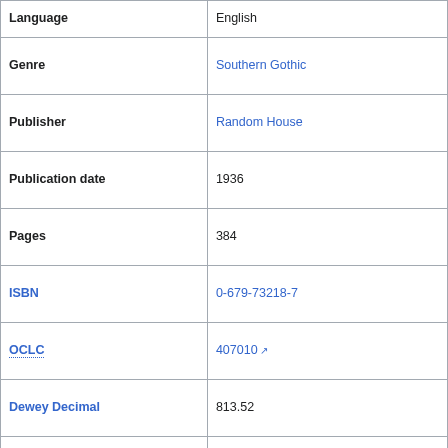| Field | Value |
| --- | --- |
| Language | English |
| Genre | Southern Gothic |
| Publisher | Random House |
| Publication date | 1936 |
| Pages | 384 |
| ISBN | 0-679-73218-7 |
| OCLC | 407010 |
| Dewey Decimal | 813.52 |
| LC Class | PS3511.A86 |
| Preceded by | Pylon |
| Followed by | The Unvanquished |